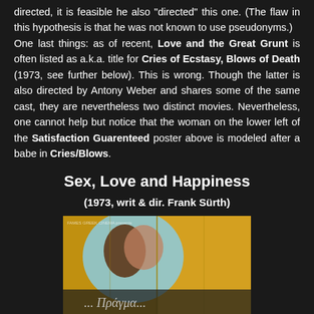directed, it is feasible he also "directed" this one. (The flaw in this hypothesis is that he was not known to use pseudonyms.) One last things: as of recent, Love and the Great Grunt is often listed as a.k.a. title for Cries of Ecstasy, Blows of Death (1973, see further below). This is wrong. Though the latter is also directed by Antony Weber and shares some of the same cast, they are nevertheless two distinct movies. Nevertheless, one cannot help but notice that the woman on the lower left of the Satisfaction Guarenteed poster above is modeled after a babe in Cries/Blows.
Sex, Love and Happiness
(1973, writ & dir. Frank Sürth)
[Figure (photo): Movie poster for Sex, Love and Happiness (1973). A colorful illustrated poster with yellow and orange background featuring two figures in an embrace within a circular vignette. Text at the bottom in stylized lettering partially visible.]